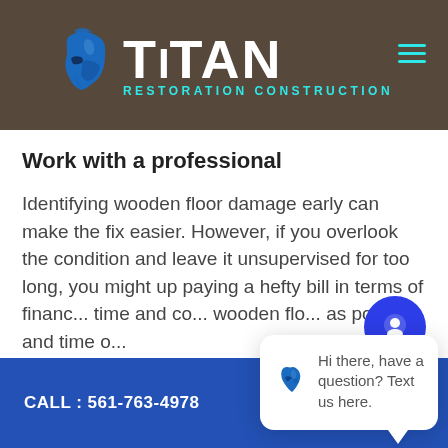[Figure (logo): Titan Restoration Construction logo with blue Spartan helmet and white bold text on dark header background]
Work with a professional
Identifying wooden floor damage early can make the fix easier. However, if you overlook the condition and leave it unsupervised for too long, you might up paying a hefty bill in terms of finance, time and co... wooden flo... as possible and time o...
[Figure (screenshot): Chat popup with Titan logo bird icon and text: Hi there, have a question? Text us here.]
CALL : 561-763-4978   BOOK NOW